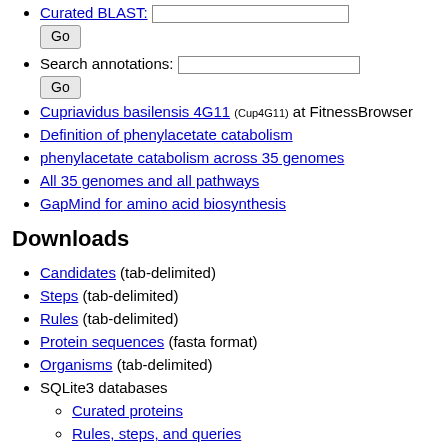Curated BLAST: [input] Go
Search annotations: [input] Go
Cupriavidus basilensis 4G11 (Cup4G11) at FitnessBrowser
Definition of phenylacetate catabolism
phenylacetate catabolism across 35 genomes
All 35 genomes and all pathways
GapMind for amino acid biosynthesis
Downloads
Candidates (tab-delimited)
Steps (tab-delimited)
Rules (tab-delimited)
Protein sequences (fasta format)
Organisms (tab-delimited)
SQLite3 databases
Curated proteins
Rules, steps, and queries
Analysis results
Related tools